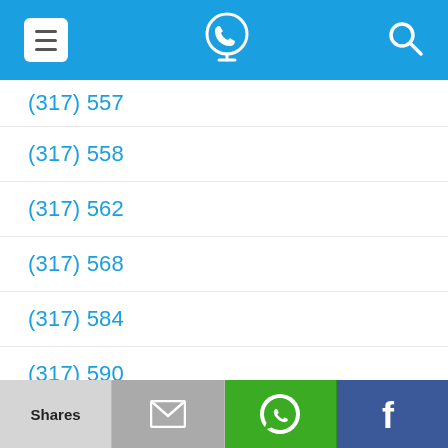Navigation header with menu, phone/location icon, and search icon
(317) 557
(317) 558
(317) 562
(317) 568
(317) 584
(317) 590
(317) 591
(317) 599
(317) 600
Shares | Email | WhatsApp | Facebook